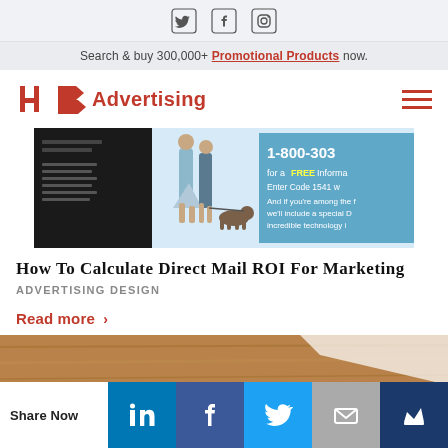Social icons: Twitter, Facebook, Instagram
Search & buy 300,000+ Promotional Products now.
[Figure (logo): HB Advertising logo with red H and B letters and Advertising text]
[Figure (photo): Direct mail advertisement showing people walking a dog and a phone number 1-800-303 with 'for a FREE Informa... Enter Code 1541']
How To Calculate Direct Mail ROI For Marketing
ADVERTISING DESIGN
Read more >
[Figure (photo): Bottom portion of article thumbnail showing a wooden surface]
Share Now